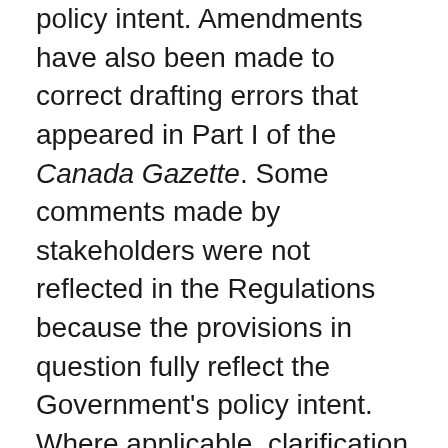policy intent. Amendments have also been made to correct drafting errors that appeared in Part I of the Canada Gazette. Some comments made by stakeholders were not reflected in the Regulations because the provisions in question fully reflect the Government's policy intent. Where applicable, clarification with respect to these provisions will be provided in guidance.
“One-for-One” Rule
The “One-for-One” Rule does not apply to this proposal. The proposed amendments